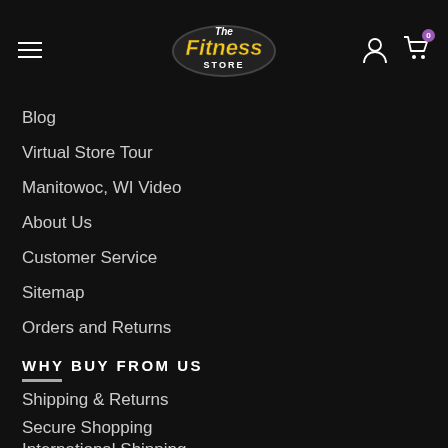The Fitness Store — navigation header with logo, hamburger menu, user icon, cart icon with badge 0
Blog
Virtual Store Tour
Manitowoc, WI Video
About Us
Customer Service
Sitemap
Orders and Returns
Contact Us
WHY BUY FROM US
Shipping & Returns
Secure Shopping
International Shipping